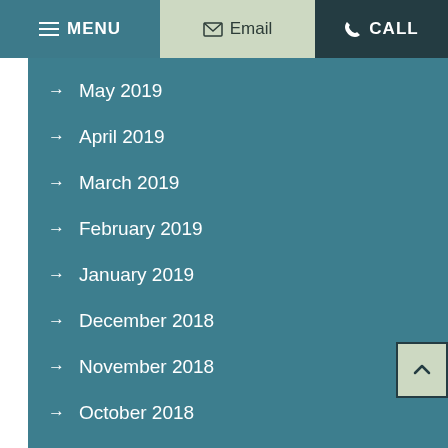MENU | Email | CALL
→ May 2019
→ April 2019
→ March 2019
→ February 2019
→ January 2019
→ December 2018
→ November 2018
→ October 2018
→ September 2018
→ August 2018